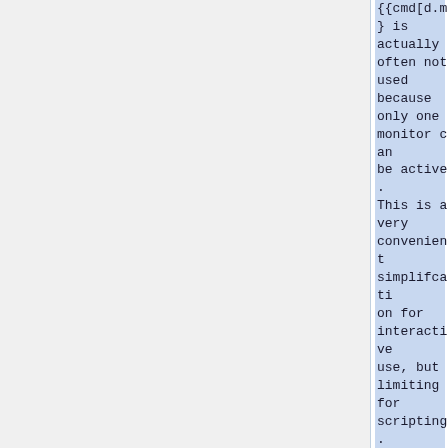{{cmd[d.mon}} is actually often not used because only one monitor can be active. This is a very convenient simplification for interactive use, but limiting for scripting. When the rendering runs in